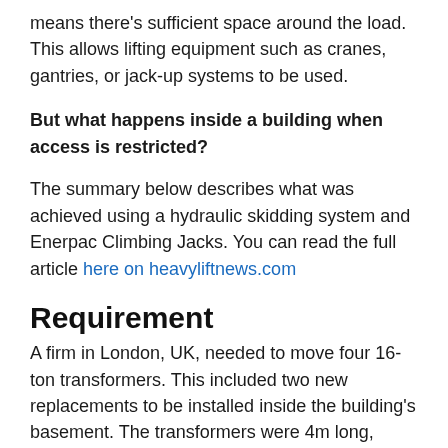means there's sufficient space around the load. This allows lifting equipment such as cranes, gantries, or jack-up systems to be used.
But what happens inside a building when access is restricted?
The summary below describes what was achieved using a hydraulic skidding system and Enerpac Climbing Jacks. You can read the full article here on heavyliftnews.com
Requirement
A firm in London, UK, needed to move four 16-ton transformers. This included two new replacements to be installed inside the building's basement. The transformers were 4m long, 2.2m high and 1.8m wide. Not only did they need moving along a 30m